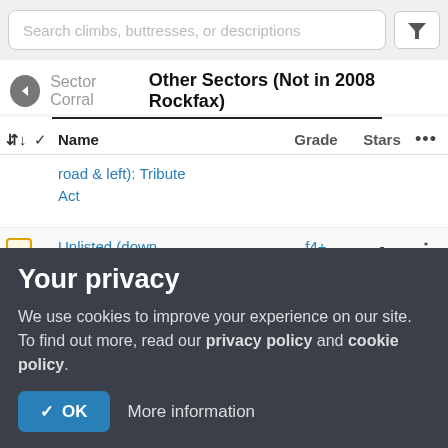Search climbs, buttresses, or descriptions
Sector Corral  Other Sectors (Not in 2008 Rockfax)
| Name | Grade | Stars |  |
| --- | --- | --- | --- |
| road & left): Tribute Act |  |  |  |
| Unlisted (down road & left): Centre | f4+ | - | i |
|  | f6D |  | i |
Your privacy
We use cookies to improve your experience on our site. To find out more, read our privacy policy and cookie policy.
✓ OK  More information